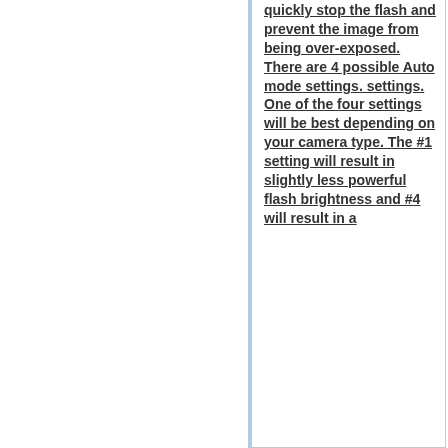quickly stop the flash and prevent the image from being over-exposed. There are 4 possible Auto mode settings. settings. One of the four settings will be best depending on your camera type. The #1 setting will result in slightly less powerful flash brightness and #4 will result in a
more powerful flash brightness.
<gallery>
File:Sealife-proflash05-auto.png|Auto Mode Switch
</gallery>